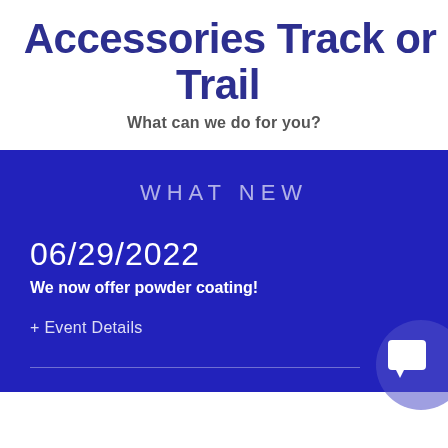Accessories Track or Trail
What can we do for you?
WHAT NEW
06/29/2022
We now offer powder coating!
+ Event Details